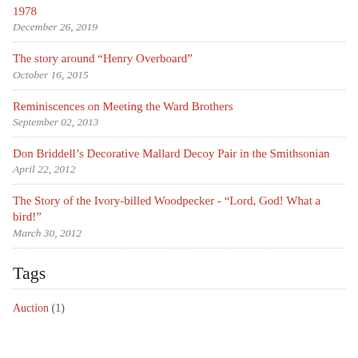1978
December 26, 2019
The story around “Henry Overboard”
October 16, 2015
Reminiscences on Meeting the Ward Brothers
September 02, 2013
Don Briddell’s Decorative Mallard Decoy Pair in the Smithsonian
April 22, 2012
The Story of the Ivory-billed Woodpecker - “Lord, God! What a bird!”
March 30, 2012
Tags
Auction (1)